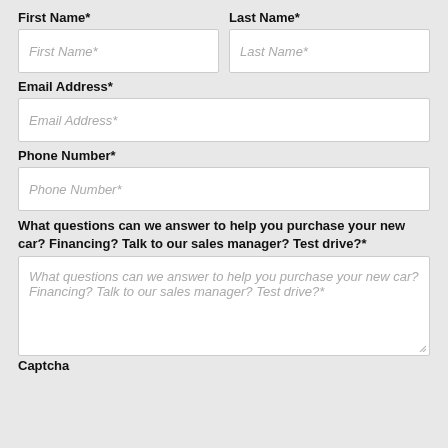First Name*
Last Name*
First Name*
Last Name*
Email Address*
Email Address*
Phone Number*
Phone Number*
What questions can we answer to help you purchase your new car? Financing? Talk to our sales manager? Test drive?*
What questions can we answer to help you purchase your new car? Financing? Talk to our sales manager? Test drive?*
Captcha